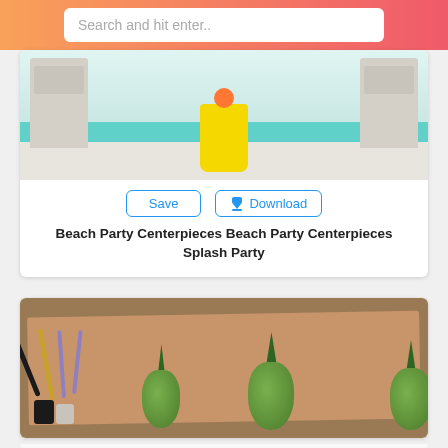[Figure (screenshot): Search bar with placeholder text 'Search and hit enter..' on a coral/orange gradient header background]
[Figure (photo): Photo of folding chairs with teal ribbon and yellow bucket centerpiece at a beach party setup]
Save
Download
Beach Party Centerpieces Beach Party Centerpieces Splash Party
[Figure (photo): Photo of pineapples and paint brushes laid out on kraft paper from above]